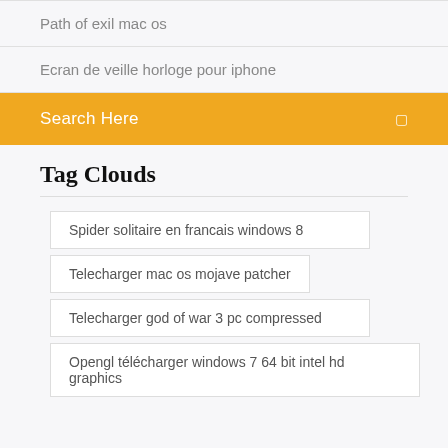Path of exil mac os
Ecran de veille horloge pour iphone
Search Here
Tag Clouds
Spider solitaire en francais windows 8
Telecharger mac os mojave patcher
Telecharger god of war 3 pc compressed
Opengl télécharger windows 7 64 bit intel hd graphics